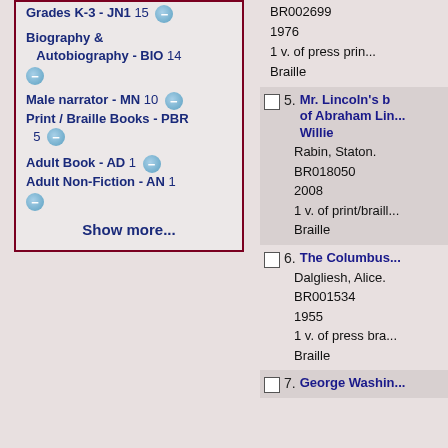Biography & Autobiography - BIO 14
Male narrator - MN 10
Print / Braille Books - PBR 5
Adult Book - AD 1
Adult Non-Fiction - AN 1
Show more...
5. Mr. Lincoln's b... of Abraham Lin... Willie
Rabin, Staton.
BR018050
2008
1 v. of print/braill...
Braille
6. The Columbus...
Dalgliesh, Alice.
BR001534
1955
1 v. of press bra...
Braille
7. George Washin...